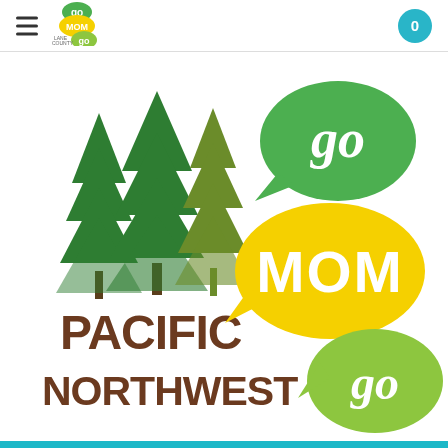Go Mom Go - Lane County - Navigation header with logo and cart icon
[Figure (logo): Go Mom Go Pacific Northwest logo: two green conifer trees on the left with 'PACIFIC NORTHWEST' in bold brown text, and speech bubble icons on the right reading 'go', 'MOM', 'go' in green, yellow, and lime green bubbles respectively with white text]